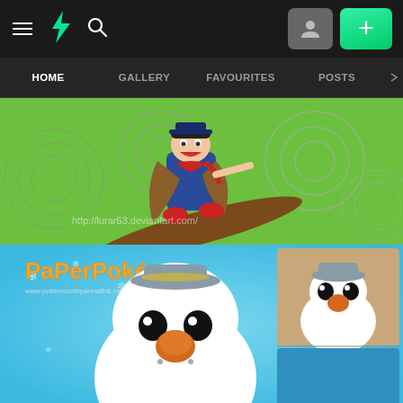DeviantArt mobile navigation bar with hamburger menu, DA logo, search icon, profile button, and + button
HOME | GALLERY | FAVOURITES | POSTS
[Figure (screenshot): Anime-style illustration of a character in a blue suit and brown coat surfing/sliding on a brown shape, with a green background featuring silver swirl circle designs. Watermark text partially visible.]
[Figure (screenshot): PaperPokes branded image showing a Snover Pokemon papercraft figure (white round snowman-like figure with hat, orange nose, black eyes) on a blue snowy background. Large close-up on left, smaller image on right showing front view. PaperPokes logo in yellow/orange text top-left, website URL below logo.]